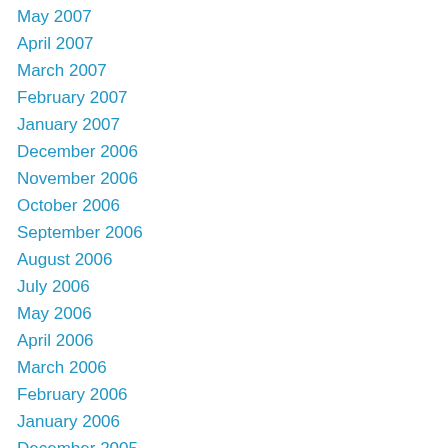May 2007
April 2007
March 2007
February 2007
January 2007
December 2006
November 2006
October 2006
September 2006
August 2006
July 2006
May 2006
April 2006
March 2006
February 2006
January 2006
December 2005
October 2005
September 2005
August 2005